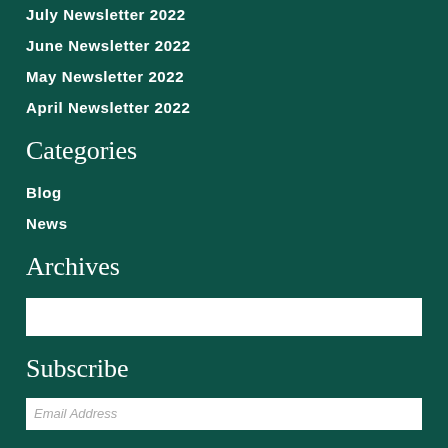July Newsletter 2022
June Newsletter 2022
May Newsletter 2022
April Newsletter 2022
Categories
Blog
News
Archives
Subscribe